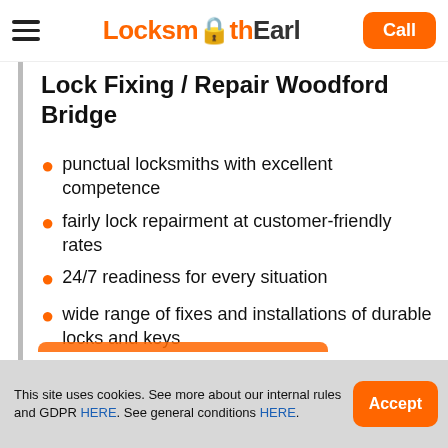Locksmith Earl — Call
Lock Fixing / Repair Woodford Bridge
punctual locksmiths with excellent competence
fairly lock repairment at customer-friendly rates
24/7 readiness for every situation
wide range of fixes and installations of durable locks and keys
This site uses cookies. See more about our internal rules and GDPR HERE. See general conditions HERE.